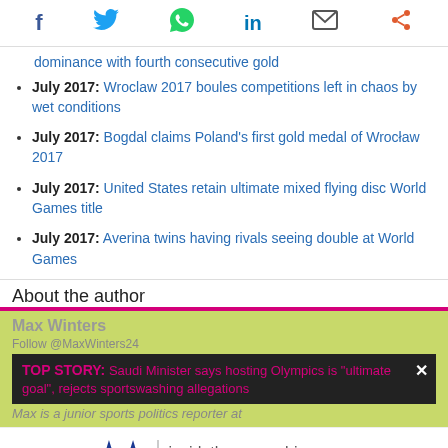[Figure (other): Social media sharing icons: Facebook, Twitter, WhatsApp, LinkedIn, Email, Share]
dominance with fourth consecutive gold
July 2017: Wroclaw 2017 boules competitions left in chaos by wet conditions
July 2017: Bogdal claims Poland's first gold medal of Wroclaw 2017
July 2017: United States retain ultimate mixed flying disc World Games title
July 2017: Averina twins having rivals seeing double at World Games
About the author
Max Winters
Follow @MaxWinters24
TOP STORY: Saudi Minister says hosting Olympics is "ultimate goal", rejects sportswashing allegations
Max is a junior sports politics reporter at
[Figure (logo): FISU logo with text: insidethegames.biz Best Media Partner 2019]